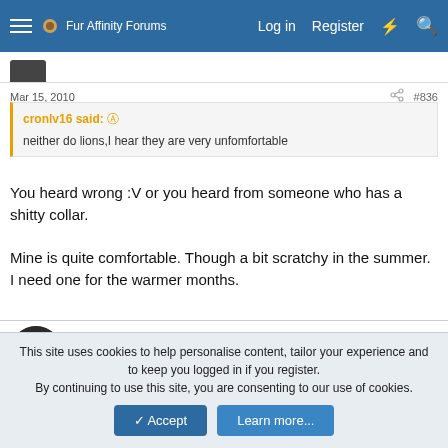Fur Affinity Forums  Log in  Register
Mar 15, 2010  #836
cronlv16 said: ↑
neither do lions,I hear they are very unfomfortable
You heard wrong :V or you heard from someone who has a shitty collar.

Mine is quite comfortable. Though a bit scratchy in the summer. I need one for the warmer months.
FluffMouse
*Crawls into traffic*
This site uses cookies to help personalise content, tailor your experience and to keep you logged in if you register.
By continuing to use this site, you are consenting to our use of cookies.